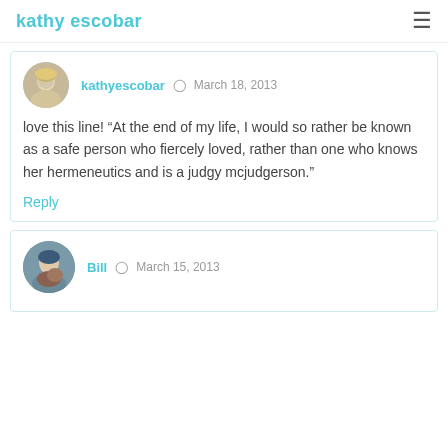kathy escobar
kathyescobar  March 18, 2013
love this line! “At the end of my life, I would so rather be known as a safe person who fiercely loved, rather than one who knows her hermeneutics and is a judgy mcjudgerson.”
Reply
Bill  March 15, 2013